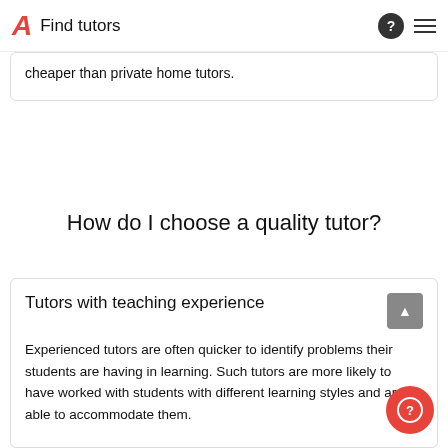Find tutors
cheaper than private home tutors.
How do I choose a quality tutor?
Tutors with teaching experience
Experienced tutors are often quicker to identify problems their students are having in learning. Such tutors are more likely to have worked with students with different learning styles and are able to accommodate them.